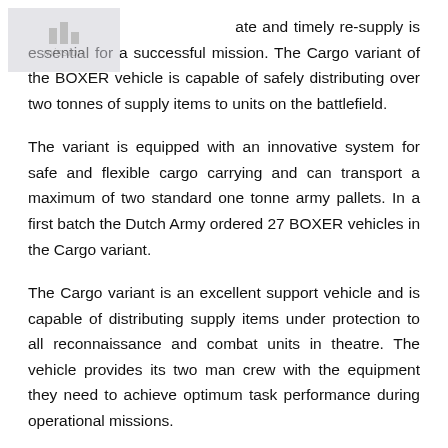[Figure (logo): Watermark/logo image in top-left corner with bar chart icon and text 'Adequate mission']
Adequate and timely re-supply is essential for a successful mission. The Cargo variant of the BOXER vehicle is capable of safely distributing over two tonnes of supply items to units on the battlefield.
The variant is equipped with an innovative system for safe and flexible cargo carrying and can transport a maximum of two standard one tonne army pallets. In a first batch the Dutch Army ordered 27 BOXER vehicles in the Cargo variant.
The Cargo variant is an excellent support vehicle and is capable of distributing supply items under protection to all reconnaissance and combat units in theatre. The vehicle provides its two man crew with the equipment they need to achieve optimum task performance during operational missions.
The interior design of the vehicle allows adaptation as